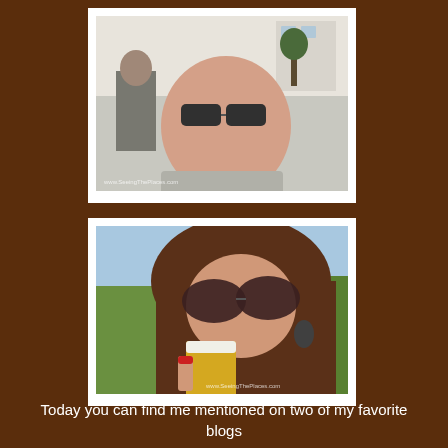[Figure (photo): Man with sunglasses outdoors, smiling, wearing a grey sweater. Watermark visible at bottom left: www.SeeingThePlaces.com]
[Figure (photo): Woman with large sunglasses drinking a pint of beer outdoors. Red nail polish visible. Watermark at bottom right: www.SeeingThePlaces.com]
Today you can find me mentioned on two of my favorite blogs